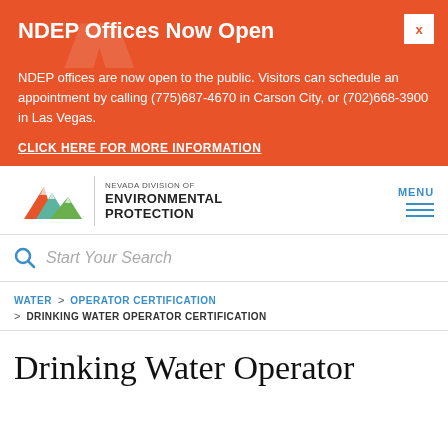NDEP Offices Now Open
NDEP offices are now open to the public. Visitors can schedule an appointment by calling (775)687-4670 in Carson City, or (702)668-3900 in Las Vegas.
CLICK HERE FOR MORE INFORMATION
[Figure (logo): Nevada Division of Environmental Protection logo with mountain graphic]
MENU
Start Your Search
WATER > OPERATOR CERTIFICATION > DRINKING WATER OPERATOR CERTIFICATION
Drinking Water Operator